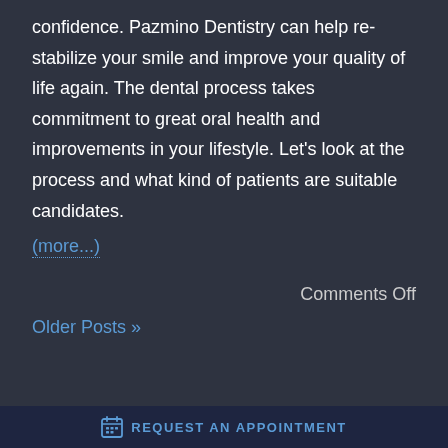confidence. Pazmino Dentistry can help re-stabilize your smile and improve your quality of life again. The dental process takes commitment to great oral health and improvements in your lifestyle. Let's look at the process and what kind of patients are suitable candidates.
(more...)
Comments Off
Older Posts »
REQUEST AN APPOINTMENT